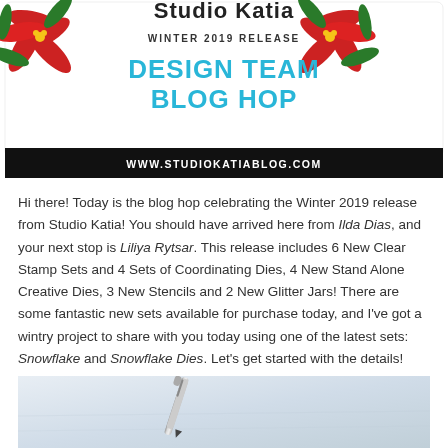[Figure (illustration): Studio Katia Winter 2019 Release Design Team Blog Hop banner with poinsettia decorations and website URL www.studiokatiablog.com]
Hi there! Today is the blog hop celebrating the Winter 2019 release from Studio Katia! You should have arrived here from Ilda Dias, and your next stop is Liliya Rytsar. This release includes 6 New Clear Stamp Sets and 4 Sets of Coordinating Dies, 4 New Stand Alone Creative Dies, 3 New Stencils and 2 New Glitter Jars! There are some fantastic new sets available for purchase today, and I've got a wintry project to share with you today using one of the latest sets: Snowflake and Snowflake Dies. Let's get started with the details!
[Figure (photo): Photo of a wintry craft project showing a pen/marker on a light blue/white background]